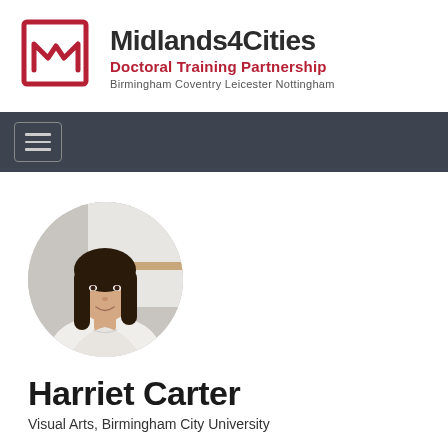[Figure (logo): Midlands4Cities Doctoral Training Partnership logo with bookmark/M icon in dark red square outline, text 'Midlands4Cities' in bold dark, 'Doctoral Training Partnership' in red, 'Birmingham Coventry Leicester Nottingham' in grey]
[Figure (other): Hamburger menu button (three horizontal lines) in a rounded rectangle, on a dark grey navigation bar]
[Figure (photo): Circular profile photo of Harriet Carter, a woman with long dark brown hair, smiling slightly, light background]
Harriet Carter
Visual Arts, Birmingham City University